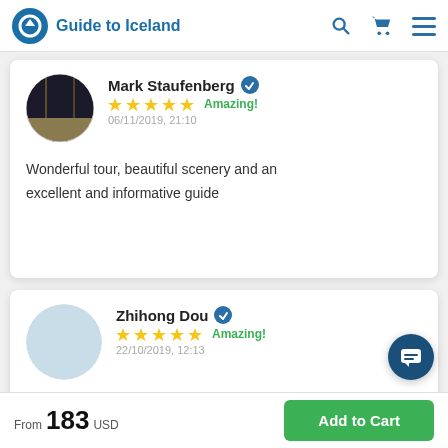Guide to Iceland
Mark Staufenberg — Amazing! — 06/11/2019, 21:10 — Wonderful tour, beautiful scenery and an excellent and informative guide
Zhihong Dou — Amazing! — 22/10/2019, 12:13 — (Chinese text review)
From 183 USD — Add to Cart